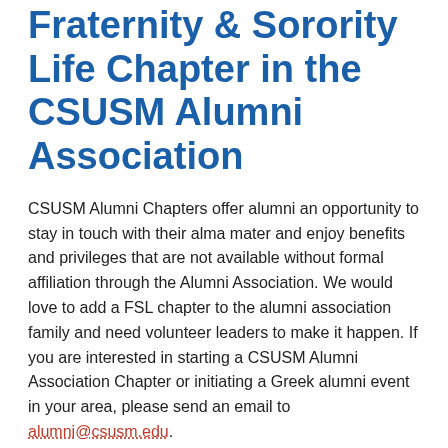Fraternity & Sorority Life Chapter in the CSUSM Alumni Association
CSUSM Alumni Chapters offer alumni an opportunity to stay in touch with their alma mater and enjoy benefits and privileges that are not available without formal affiliation through the Alumni Association. We would love to add a FSL chapter to the alumni association family and need volunteer leaders to make it happen. If you are interested in starting a CSUSM Alumni Association Chapter or initiating a Greek alumni event in your area, please send an email to alumni@csusm.edu.
Fraternity & Sorority Affiliated Faculty & Staff